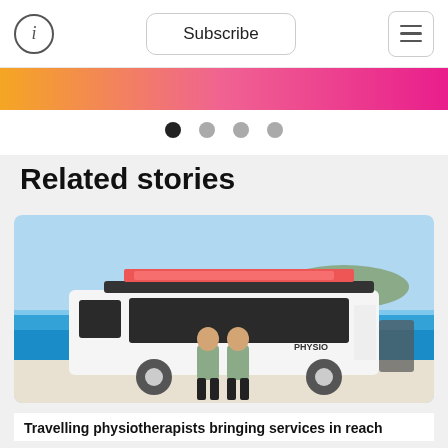i  Subscribe  ☰
[Figure (illustration): Gradient banner from orange-yellow on the left to pink-magenta on the right]
[Figure (infographic): Carousel indicator dots: four dots, first one dark/active, remaining three grey/inactive]
Related stories
[Figure (photo): Two people standing in front of a white bus labelled PHYSIO on a white sandy beach with blue ocean and island in background. The bus has surfboards on the roof rack and bicycles on the back.]
Travelling physiotherapists bringing services in reach